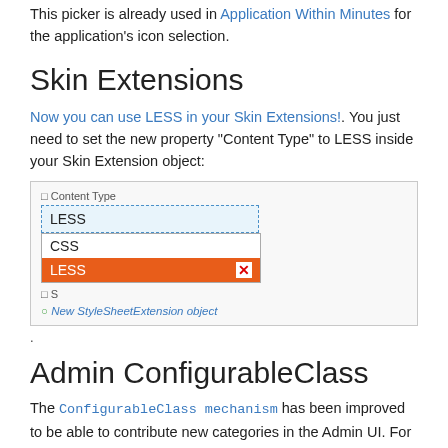This picker is already used in Application Within Minutes for the application's icon selection.
Skin Extensions
Now you can use LESS in your Skin Extensions!. You just need to set the new property "Content Type" to LESS inside your Skin Extension object:
[Figure (screenshot): Screenshot of a UI showing a 'Content Type' field with 'LESS' typed in an input box and a dropdown showing 'CSS' and 'LESS' options, with LESS highlighted in orange. Below is a green link 'New StyleSheetExtension object'.]
.
Admin ConfigurableClass
The ConfigurableClass mechanism has been improved to be able to contribute new categories in the Admin UI. For example the "Email" Category in the following screenshot is contributed through a ConfigurableClass:
[Figure (screenshot): Partial screenshot showing 'Administration: Global' heading.]